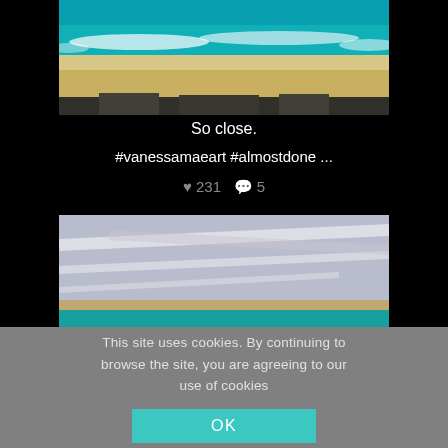[Figure (photo): A painting of ocean waves with sandy beach, showing teal/turquoise waves and sandy shore with dark bottom edge]
So close.
#vanessamaeart #almostdone ...
♥ 231  💬 5
[Figure (photo): A painting showing sky with wispy clouds in grey-blue tones and a strip of teal at the bottom]
This site uses cookies. By continuing to browse the site, you are agreeing to our use of cookies
OK